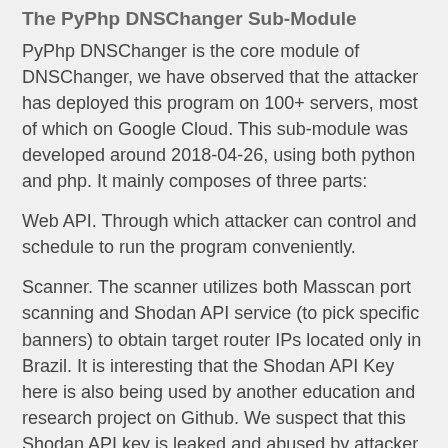The PyPhp DNSChanger Sub-Module
PyPhp DNSChanger is the core module of DNSChanger, we have observed that the attacker has deployed this program on 100+ servers, most of which on Google Cloud. This sub-module was developed around 2018-04-26, using both python and php. It mainly composes of three parts:
Web API. Through which attacker can control and schedule to run the program conveniently.
Scanner. The scanner utilizes both Masscan port scanning and Shodan API service (to pick specific banners) to obtain target router IPs located only in Brazil. It is interesting that the Shodan API Key here is also being used by another education and research project on Github. We suspect that this Shodan API key is leaked and abused by attacker.
Information of the Shodan API key is as follow: